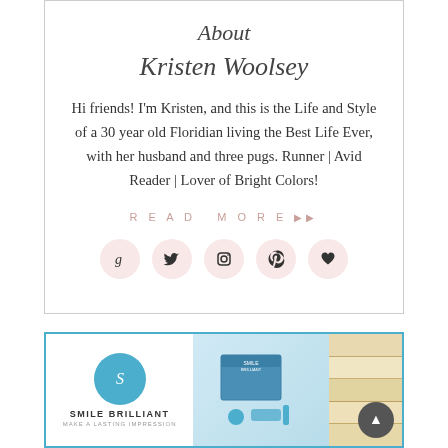About
Kristen Woolsey
Hi friends! I'm Kristen, and this is the Life and Style of a 30 year old Floridian living the Best Life Ever, with her husband and three pugs. Runner | Avid Reader | Lover of Bright Colors!
READ MORE▶▶
[Figure (infographic): Five social media icon circles: Goodreads (g), Twitter (bird), Instagram (camera), Pinterest (P), and a heart/favorite icon, all on pink circular backgrounds.]
[Figure (photo): Smile Brilliant advertisement banner with logo (blue circle with S), product kit in center, and a vertical strip of teeth whitening before/after photos on the right.]